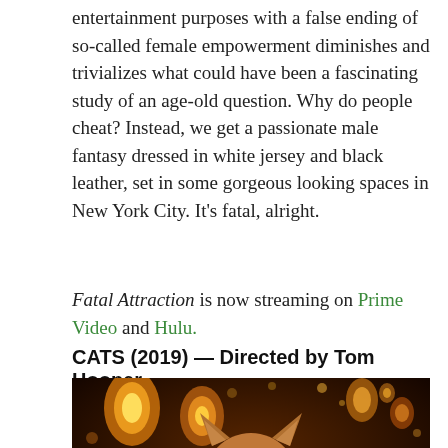entertainment purposes with a false ending of so-called female empowerment diminishes and trivializes what could have been a fascinating study of an age-old question. Why do people cheat? Instead, we get a passionate male fantasy dressed in white jersey and black leather, set in some gorgeous looking spaces in New York City. It's fatal, alright.
Fatal Attraction is now streaming on Prime Video and Hulu.
CATS (2019) — Directed by Tom Hooper
[Figure (photo): A still from the 2019 film CATS showing a humanoid cat character (likely Victoria) with glowing blue eyes, cat ears, and feline facial features, against a warm amber/orange bokeh background with hanging lantern-like lights.]